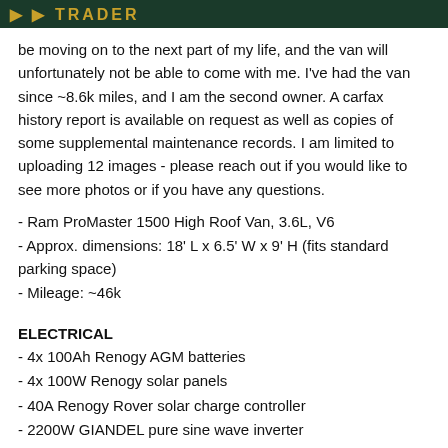TRADER
be moving on to the next part of my life, and the van will unfortunately not be able to come with me. I've had the van since ~8.6k miles, and I am the second owner. A carfax history report is available on request as well as copies of some supplemental maintenance records. I am limited to uploading 12 images - please reach out if you would like to see more photos or if you have any questions.
- Ram ProMaster 1500 High Roof Van, 3.6L, V6
- Approx. dimensions: 18' L x 6.5' W x 9' H (fits standard parking space)
- Mileage: ~46k
ELECTRICAL
- 4x 100Ah Renogy AGM batteries
- 4x 100W Renogy solar panels
- 40A Renogy Rover solar charge controller
- 2200W GIANDEL pure sine wave inverter